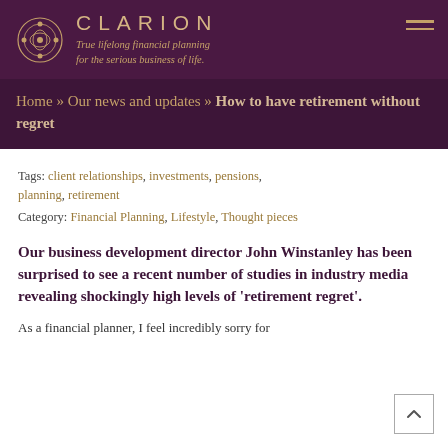CLARION — True lifelong financial planning for the serious business of life.
Home » Our news and updates » How to have retirement without regret
Tags: client relationships, investments, pensions, planning, retirement
Category: Financial Planning, Lifestyle, Thought pieces
Our business development director John Winstanley has been surprised to see a recent number of studies in industry media revealing shockingly high levels of 'retirement regret'.
As a financial planner, I feel incredibly sorry for